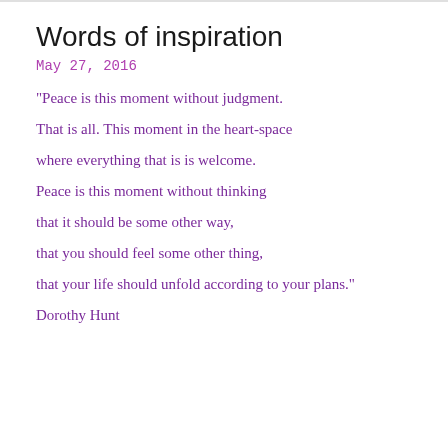Words of inspiration
May 27, 2016
"Peace is this moment without judgment.

That is all. This moment in the heart-space

where everything that is is welcome.

Peace is this moment without thinking

that it should be some other way,

that you should feel some other thing,

that your life should unfold according to your plans."

Dorothy Hunt